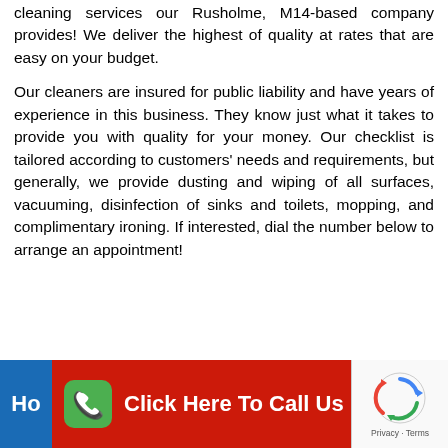cleaning services our Rusholme, M14-based company provides! We deliver the highest of quality at rates that are easy on your budget.
Our cleaners are insured for public liability and have years of experience in this business. They know just what it takes to provide you with quality for your money. Our checklist is tailored according to customers' needs and requirements, but generally, we provide dusting and wiping of all surfaces, vacuuming, disinfection of sinks and toilets, mopping, and complimentary ironing. If interested, dial the number below to arrange an appointment!
[Figure (other): Red call-to-action button with green phone icon reading 'Click Here To Call Us', beside a blue tab labeled 'HO' and a reCAPTCHA logo on the right]